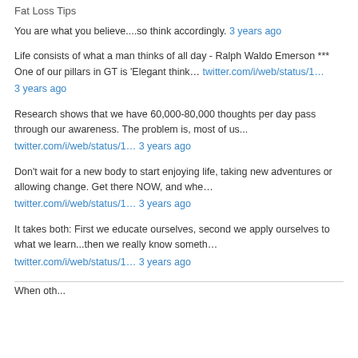Fat Loss Tips
You are what you believe....so think accordingly. 3 years ago
Life consists of what a man thinks of all day - Ralph Waldo Emerson *** One of our pillars in GT is 'Elegant think… twitter.com/i/web/status/1… 3 years ago
Research shows that we have 60,000-80,000 thoughts per day pass through our awareness. The problem is, most of us... twitter.com/i/web/status/1… 3 years ago
Don't wait for a new body to start enjoying life, taking new adventures or allowing change. Get there NOW, and whe… twitter.com/i/web/status/1… 3 years ago
It takes both: First we educate ourselves, second we apply ourselves to what we learn...then we really know someth… twitter.com/i/web/status/1… 3 years ago
When oth...